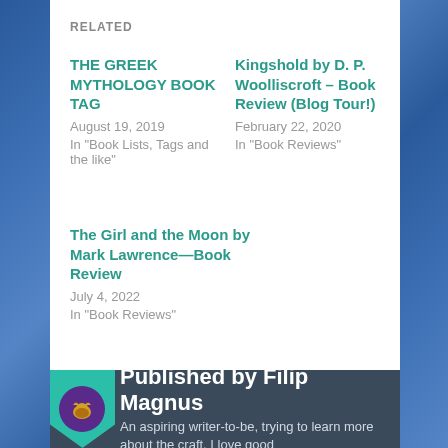RELATED
THE GREEK MYTHOLOGY BOOK TAG
August 19, 2019
In "Book Lists, Tags and the like"
Kingshold by D. P. Woolliscroft – Book Review (Blog Tour!)
February 22, 2020
In "Book Reviews"
The Girl and the Moon by Mark Lawrence—Book Review
July 4, 2022
In "Book Reviews"
Published by Filip Magnus
An aspiring writer-to-be, trying to learn more about the craft. I love good